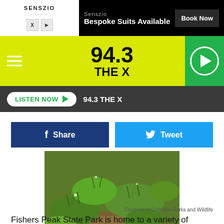[Figure (screenshot): Advertisement banner for Senszio Bespoke Suits with Book Now button]
[Figure (logo): 94.3 THE X radio station header banner with green play button]
LISTEN NOW ▶  94.3 THE X
[Figure (other): Facebook Share button and Twitter Tweet button]
[Figure (photo): Photo of grassy hillside at Fishers Peak State Park]
Courtesy of Colorado Parks and Wildlife
Fishers Peak State Park is home to a variety of plants, including the rare flowering perennial, the Capulin Goldenrod